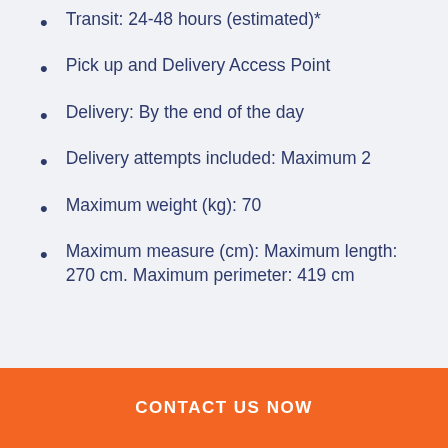Transit: 24-48 hours (estimated)*
Pick up and Delivery Access Point
Delivery: By the end of the day
Delivery attempts included: Maximum 2
Maximum weight (kg): 70
Maximum measure (cm): Maximum length: 270 cm. Maximum perimeter: 419 cm
CONTACT US NOW